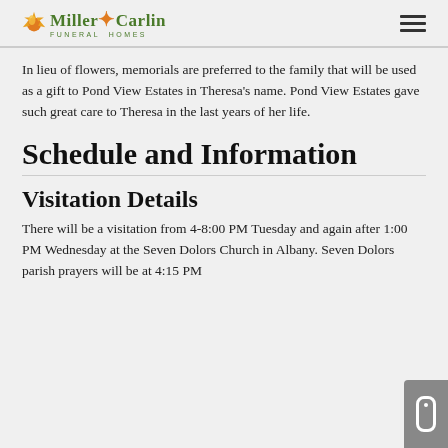Miller-Carlin Funeral Homes
In lieu of flowers, memorials are preferred to the family that will be used as a gift to Pond View Estates in Theresa's name. Pond View Estates gave such great care to Theresa in the last years of her life.
Schedule and Information
Visitation Details
There will be a visitation from 4-8:00 PM Tuesday and again after 1:00 PM Wednesday at the Seven Dolors Church in Albany. Seven Dolors parish prayers will be at 4:15 PM